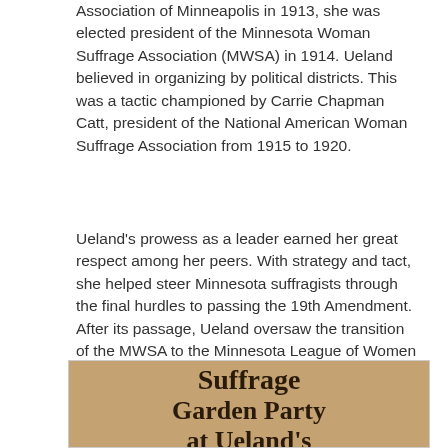Association of Minneapolis in 1913, she was elected president of the Minnesota Woman Suffrage Association (MWSA) in 1914. Ueland believed in organizing by political districts. This was a tactic championed by Carrie Chapman Catt, president of the National American Woman Suffrage Association from 1915 to 1920.
Ueland's prowess as a leader earned her great respect among her peers. With strategy and tact, she helped steer Minnesota suffragists through the final hurdles to passing the 19th Amendment. After its passage, Ueland oversaw the transition of the MWSA to the Minnesota League of Women Voters.
[Figure (photo): A vintage flyer or newspaper clipping on tan/brown paper reading 'Suffrage Garden Party at Ueland's' in bold serif text.]